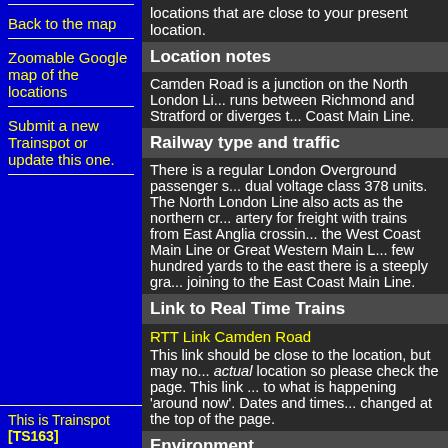locations that are close to your present location.
Location notes
Camden Road is a junction on the North London Li... runs between Richmond and Stratford or diverges t... Coast Main Line.
Railway type and traffic
There is a regular London Overground passenger s... dual voltage class 378 units. The North London Line also acts as the northern cr... artery for freight with trains from East Anglia crossin... the West Coast Main Line or Great Western Main L... few hundred yards to the east there is a steeply gra... joining to the East Coast Main Line.
Link to Real Time Trains
RTT Link Camden Road
This link should be close to the location, but may no... actual location so please check the page. This link ... to what is happening 'around now'. Dates and times... changed at the top of the page.
Environment
Camden is a busy area with plenty of people passin... the station.
Back to the map
Zoomable Google map of the locations
Submit a new Trainspot or update this one.
This is Trainspot [TS163]